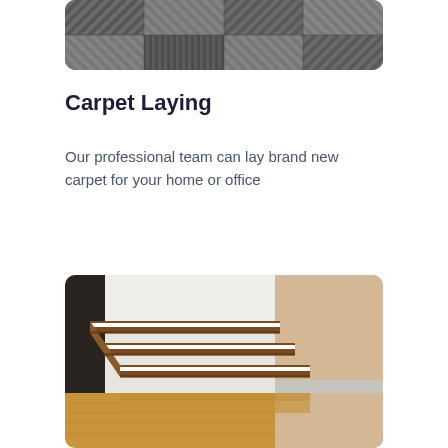[Figure (photo): Close-up photo of grey carpet tiles with a geometric/striped pattern, arranged in alternating directions]
Carpet Laying
Our professional team can lay brand new carpet for your home or office
[Figure (photo): Photo of wooden floating staircase with white risers in an interior room with wooden flooring]